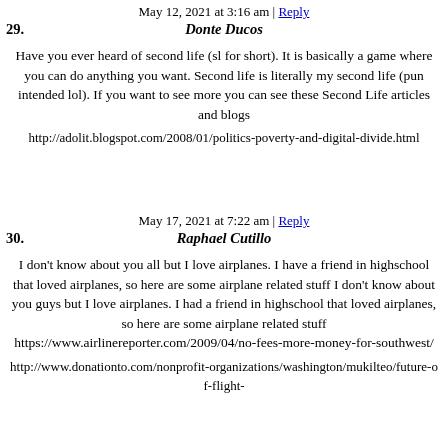May 12, 2021 at 3:16 am | Reply
29. Donte Ducos
Have you ever heard of second life (sl for short). It is basically a game where you can do anything you want. Second life is literally my second life (pun intended lol). If you want to see more you can see these Second Life articles and blogs
http://adolit.blogspot.com/2008/01/politics-poverty-and-digital-divide.html
May 17, 2021 at 7:22 am | Reply
30. Raphael Cutillo
I don't know about you all but I love airplanes. I have a friend in highschool that loved airplanes, so here are some airplane related stuff I don't know about you guys but I love airplanes. I had a friend in highschool that loved airplanes, so here are some airplane related stuff https://www.airlinereporter.com/2009/04/no-fees-more-money-for-southwest/
http://www.donationto.com/nonprofit-organizations/washington/mukilteo/future-of-flight-